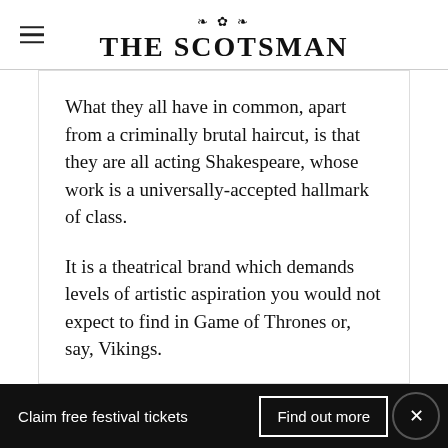THE SCOTSMAN
What they all have in common, apart from a criminally brutal haircut, is that they are all acting Shakespeare, whose work is a universally-accepted hallmark of class.
It is a theatrical brand which demands levels of artistic aspiration you would not expect to find in Game of Thrones or, say, Vikings.
If The King strikes gold, with big ratings and
Claim free festival tickets
Find out more